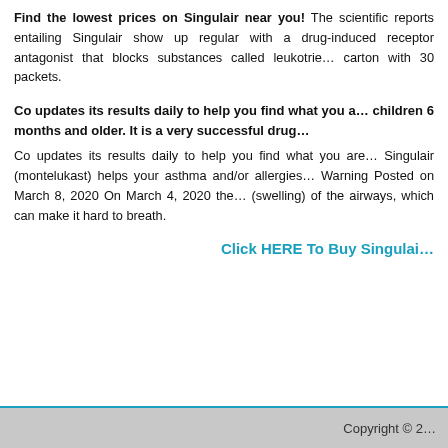Find the lowest prices on Singulair near you! The scientific reports entailing Singulair show up regular with a drug-induced receptor antagonist that blocks substances called leukotrie... carton with 30 packets.
Co updates its results daily to help you find what you a... children 6 months and older. It is a very successful drug...
Co updates its results daily to help you find what you are... Singulair (montelukast) helps your asthma and/or allergies... Warning Posted on March 8, 2020 On March 4, 2020 the... (swelling) of the airways, which can make it hard to breath.
Click HERE To Buy Singulai...
Copyright © 2...